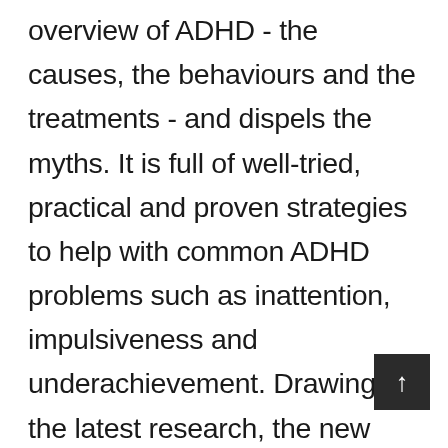overview of ADHD - the causes, the behaviours and the treatments - and dispels the myths. It is full of well-tried, practical and proven strategies to help with common ADHD problems such as inattention, impulsiveness and underachievement. Drawing on the latest research, the new edition includes: How to identify ADHD in your child ADHD in the under-fives How to encourage better behaviours at school and home Medication and alternative therapies: the pros and cons How to deal with the stress ADHD causes for parents and siblings How to help with reading, writing and language Advice for adults with ADHD Answers to common questions Fully updated list of